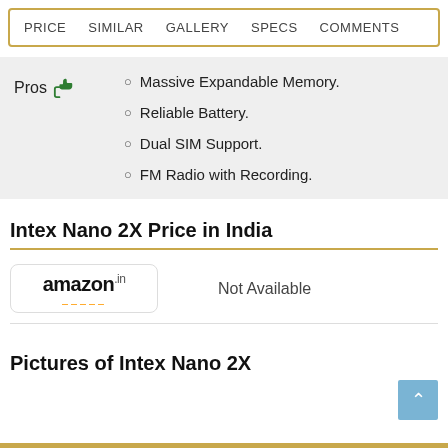PRICE  SIMILAR  GALLERY  SPECS  COMMENTS
Pros
Massive Expandable Memory.
Reliable Battery.
Dual SIM Support.
FM Radio with Recording.
Intex Nano 2X Price in India
[Figure (logo): Amazon.in logo with orange smile]
Not Available
Pictures of Intex Nano 2X